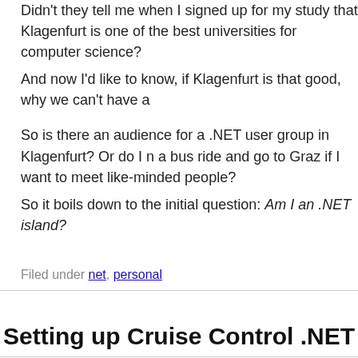Didn't they tell me when I signed up for my study that Klagenfurt is one of the best universities for computer science?
And now I'd like to know, if Klagenfurt is that good, why we can't have a...
So is there an audience for a .NET user group in Klagenfurt? Or do I need to take a bus ride and go to Graz if I want to meet like-minded people? So it boils down to the initial question: Am I an .NET island?
Filed under net, personal
Setting up Cruise Control .NET
[Figure (logo): CruiseControl.NET logo - blue and yellow gear icon with text 'CruiseControl.NET CONTINUOUS INTEGRATION SERVER']
Wow, what a day! After starting a new project today (I'll discuss that in a...) serious with source control and continous integration. This time I the... JetBrains Teamcity, and instead went for the SourceControl.NET...